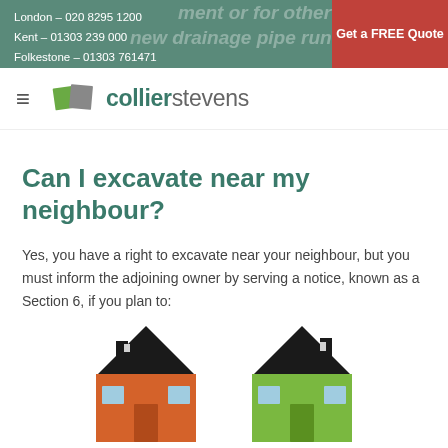London – 020 8295 1200
Kent – 01303 239 000
Folkestone – 01303 761471
Get a FREE Quote
[Figure (logo): Collier Stevens logo with green and grey overlapping square shapes]
Can I excavate near my neighbour?
Yes, you have a right to excavate near your neighbour, but you must inform the adjoining owner by serving a notice, known as a Section 6, if you plan to:
[Figure (illustration): Two house icons side by side — one with orange/red facade and one with green facade, both shown as stylized silhouettes with black roofs]